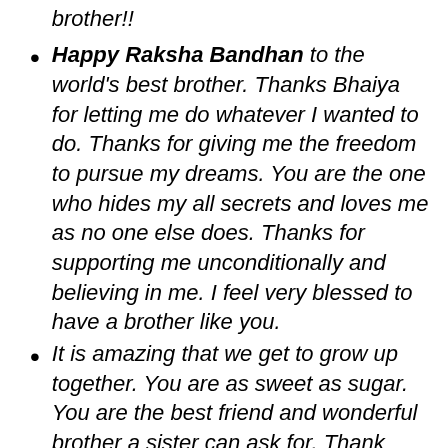brother!!
Happy Raksha Bandhan to the world's best brother. Thanks Bhaiya for letting me do whatever I wanted to do. Thanks for giving me the freedom to pursue my dreams. You are the one who hides my all secrets and loves me as no one else does. Thanks for supporting me unconditionally and believing in me. I feel very blessed to have a brother like you.
It is amazing that we get to grow up together. You are as sweet as sugar. You are the best friend and wonderful brother a sister can ask for. Thank you, brother, for showering your abundant love on me and supporting me always. On this precious occasion of Raksha